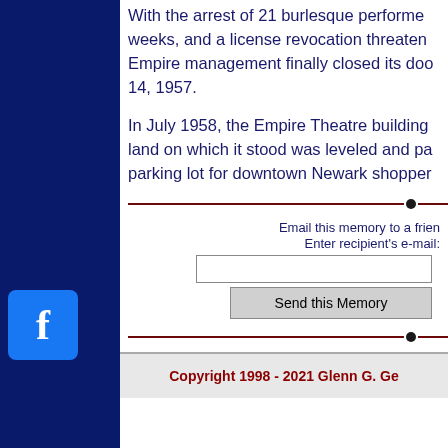With the arrest of 21 burlesque performers in two weeks, and a license revocation threatened, the Empire management finally closed its doors on June 14, 1957.
In July 1958, the Empire Theatre building was razed, the land on which it stood was leveled and paved over as a parking lot for downtown Newark shoppers.
Email this memory to a friend. Enter recipient's e-mail:
Send this Memory
Have a Newark Memory? Click here to submit it.
Copyright 1998 - 2021 Glenn G. G...
[Figure (logo): Facebook logo icon — blue square with white letter f]